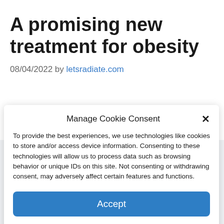A promising new treatment for obesity
08/04/2022 by letsradiate.com
Manage Cookie Consent
To provide the best experiences, we use technologies like cookies to store and/or access device information. Consenting to these technologies will allow us to process data such as browsing behavior or unique IDs on this site. Not consenting or withdrawing consent, may adversely affect certain features and functions.
Accept
Cookie Policy